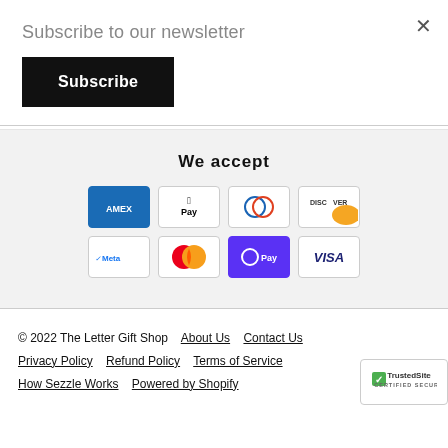Subscribe to our newsletter
Subscribe
×
We accept
[Figure (other): Payment method logos: American Express, Apple Pay, Diners Club, Discover, Meta Pay, Mastercard, Shop Pay, Visa]
© 2022 The Letter Gift Shop   About Us   Contact Us   Privacy Policy   Refund Policy   Terms of Service   How Sezzle Works   Powered by Shopify
[Figure (logo): TrustedSite Certified Secure badge]